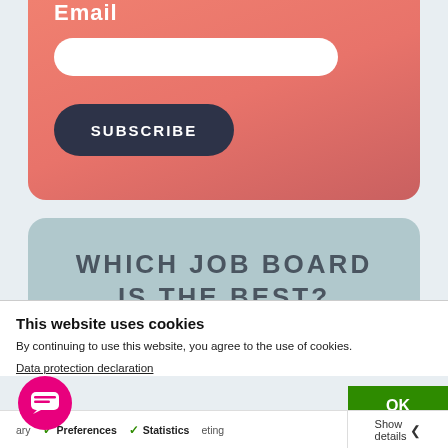Email
[Figure (screenshot): Email input field (white rounded rectangle) inside a coral/salmon gradient card]
[Figure (screenshot): SUBSCRIBE button (dark navy rounded pill button) inside a coral/salmon gradient card]
WHICH JOB BOARD IS THE BEST?
This website uses cookies
By continuing to use this website, you agree to the use of cookies.
Data protection declaration
OK
ary  ✓ Preferences  ✓ Statistics  Show details  eting